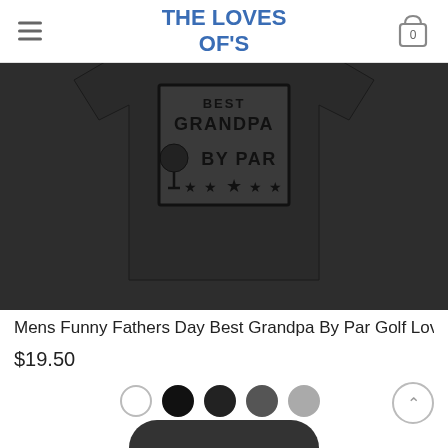THE LOVES OF'S
[Figure (photo): Black t-shirt with graphic print reading 'GRANDPA BY PAR' with golf ball on tee and stars]
Mens Funny Fathers Day Best Grandpa By Par Golf Love
$19.50